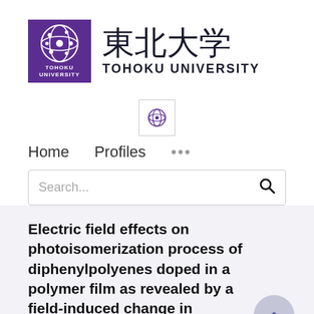[Figure (logo): Tohoku University logo: purple square with white circular emblem, kanji 東北大学 and TOHOKU UNIVERSITY text]
[Figure (logo): Globe icon button with purple world icon inside a bordered square]
Home   Profiles   ...
Search...
Electric field effects on photoisomerization process of diphenylpolyenes doped in a polymer film as revealed by a field-induced change in fluorescence